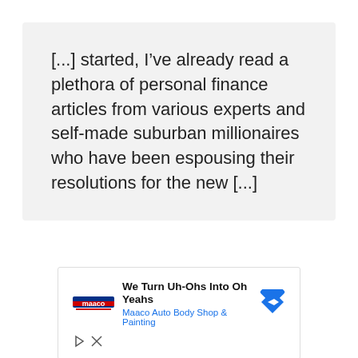[...] started, I've already read a plethora of personal finance articles from various experts and self-made suburban millionaires who have been espousing their resolutions for the new [...]
[Figure (other): Advertisement for Maaco Auto Body Shop & Painting with logo, headline 'We Turn Uh-Ohs Into Oh Yeahs', subtext 'Maaco Auto Body Shop & Painting', navigation arrow icon, and close/play controls]